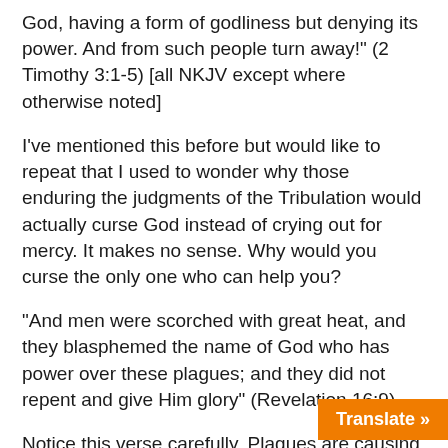God, having a form of godliness but denying its power. And from such people turn away!" (2 Timothy 3:1-5) [all NKJV except where otherwise noted]
I've mentioned this before but would like to repeat that I used to wonder why those enduring the judgments of the Tribulation would actually curse God instead of crying out for mercy. It makes no sense. Why would you curse the only one who can help you?
“And men were scorched with great heat, and they blasphemed the name of God who has power over these plagues; and they did not repent and give Him glory” (Revelation 16:9).
Notice this verse carefully. Plagues are causing great misery upon the people. In this case, the plague is great heat that scorches mankind. Now notice who has power over the plagues. God has power over the plagues. Doesn’t it make sense to beg the one who has the power of making you miserable to give you mercy? G